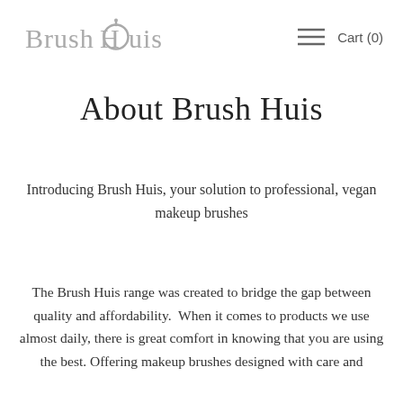Brush Huis   ≡  Cart (0)
About Brush Huis
Introducing Brush Huis, your solution to professional, vegan makeup brushes
The Brush Huis range was created to bridge the gap between quality and affordability.  When it comes to products we use almost daily, there is great comfort in knowing that you are using the best. Offering makeup brushes designed with care and